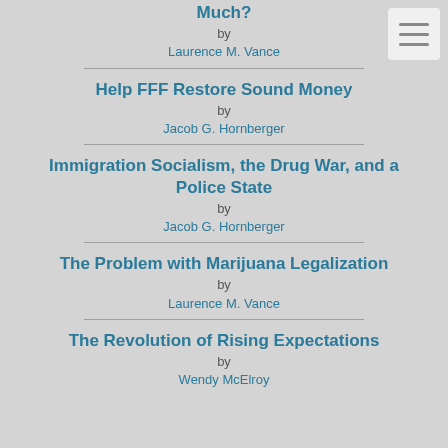Much?
by
Laurence M. Vance
Help FFF Restore Sound Money
by
Jacob G. Hornberger
Immigration Socialism, the Drug War, and a Police State
by
Jacob G. Hornberger
The Problem with Marijuana Legalization
by
Laurence M. Vance
The Revolution of Rising Expectations
by
Wendy McElroy